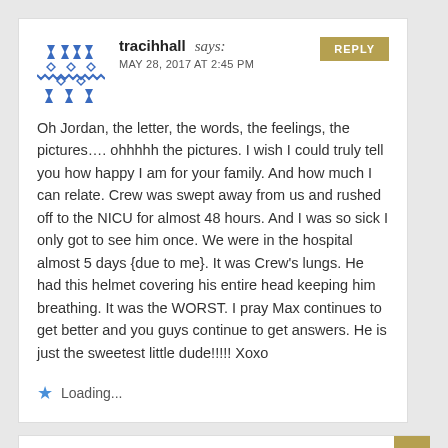[Figure (illustration): Blue geometric/tribal pattern avatar icon for user tracihhall]
tracihhall says: MAY 28, 2017 AT 2:45 PM
Oh Jordan, the letter, the words, the feelings, the pictures…. ohhhhh the pictures. I wish I could truly tell you how happy I am for your family. And how much I can relate. Crew was swept away from us and rushed off to the NICU for almost 48 hours. And I was so sick I only got to see him once. We were in the hospital almost 5 days {due to me}. It was Crew's lungs. He had this helmet covering his entire head keeping him breathing. It was the WORST. I pray Max continues to get better and you guys continue to get answers. He is just the sweetest little dude!!!!! Xoxo
Loading...